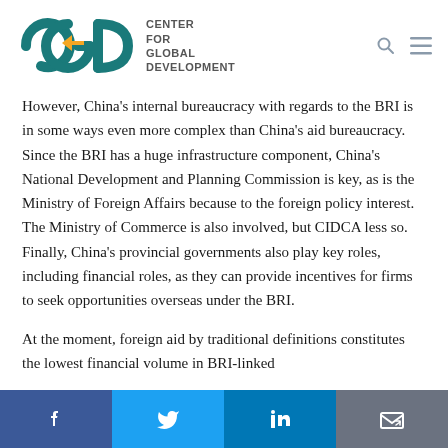[Figure (logo): Center for Global Development (CGD) logo — teal CGD letters with yellow arrow, beside stacked text 'CENTER FOR GLOBAL DEVELOPMENT']
However, China's internal bureaucracy with regards to the BRI is in some ways even more complex than China's aid bureaucracy. Since the BRI has a huge infrastructure component, China's National Development and Planning Commission is key, as is the Ministry of Foreign Affairs because to the foreign policy interest. The Ministry of Commerce is also involved, but CIDCA less so. Finally, China's provincial governments also play key roles, including financial roles, as they can provide incentives for firms to seek opportunities overseas under the BRI.
At the moment, foreign aid by traditional definitions constitutes the lowest financial volume in BRI-linked
[Figure (infographic): Social sharing bar at bottom with four buttons: Facebook (blue), Twitter (light blue), LinkedIn (dark blue), Email/share (gray)]